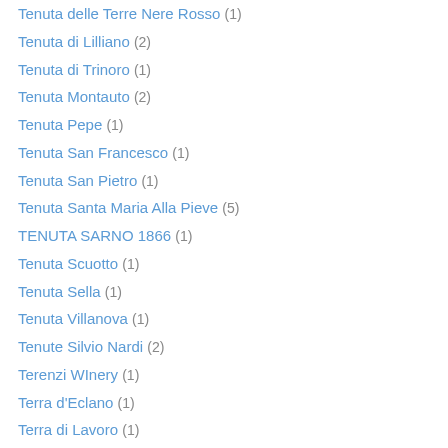Tenuta delle Terre Nere Rosso (1)
Tenuta di Lilliano (2)
Tenuta di Trinoro (1)
Tenuta Montauto (2)
Tenuta Pepe (1)
Tenuta San Francesco (1)
Tenuta San Pietro (1)
Tenuta Santa Maria Alla Pieve (5)
TENUTA SARNO 1866 (1)
Tenuta Scuotto (1)
Tenuta Sella (1)
Tenuta Villanova (1)
Tenute Silvio Nardi (2)
Terenzi WInery (1)
Terra d'Eclano (1)
Terra di Lavoro (1)
Terrantez Madeira 1832 (1)
Terre Alte (2)
Terre Altre (1)
Terre dei Grifi Frascati (1)